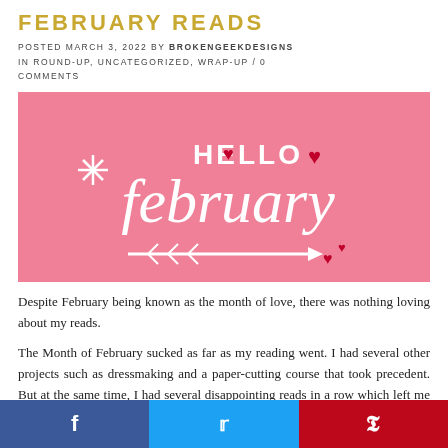FEBRUARY READS
POSTED MARCH 3, 2022 BY BROKENGEEKDESIGNS IN ROUND-UP, UNCATEGORIZED, WRAP-UP / 0 COMMENTS
[Figure (illustration): Pink banner image with white handwritten-style text reading 'Hello February' with red hearts and a decorative arrow]
Despite February being known as the month of love, there was nothing loving about my reads.
The Month of February sucked as far as my reading went. I had several other projects such as dressmaking and a paper-cutting course that took precedent. But at the same time, I had several disappointing reads in a row which left me in a
f  t  p (social share bar)